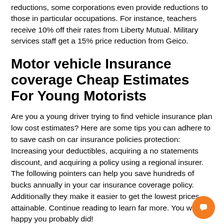reductions, some corporations even provide reductions to those in particular occupations. For instance, teachers receive 10% off their rates from Liberty Mutual. Military services staff get a 15% price reduction from Geico.
Motor vehicle Insurance coverage Cheap Estimates For Young Motorists
Are you a young driver trying to find vehicle insurance plan low cost estimates? Here are some tips you can adhere to to save cash on car insurance policies protection: Increasing your deductibles, acquiring a no statements discount, and acquiring a policy using a regional insurer. The following pointers can help you save hundreds of bucks annually in your car insurance coverage policy. Additionally they make it easier to get the lowest prices attainable. Continue reading to learn far more. You will be happy you probably did!